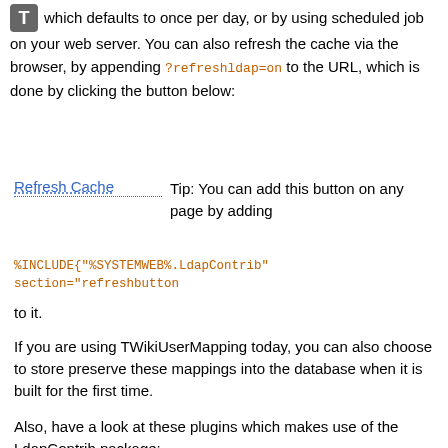which defaults to once per day, or by using scheduled job on your web server. You can also refresh the cache via the browser, by appending ?refreshldap=on to the URL, which is done by clicking the button below:
Refresh Cache   Tip: You can add this button on any page by adding
%INCLUDE{"%SYSTEMWEB%.LdapContrib" section="refreshbutton
to it.
If you are using TWikiUserMapping today, you can also choose to store preserve these mappings into the database when it is built for the first time.
Also, have a look at these plugins which makes use of the LdapContrib package:
TWiki:Plugins/LdapNgPlugin: a rewrite of the LdapPlugin by Gerard Hickey as authentication, user management and other LDAP applications were brought together in LdapContrib (this package)
In this plug-in, you also have the option to make WikiUsers interactive when hovering over them in